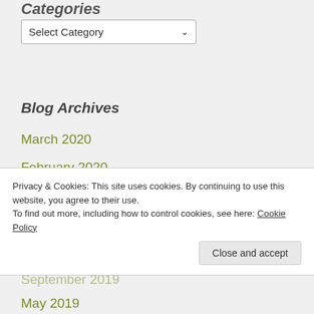Categories
[Figure (screenshot): Dropdown selector showing 'Select Category' with a chevron arrow]
Blog Archives
March 2020
February 2020
December 2019
November 2019
October 2019
Privacy & Cookies: This site uses cookies. By continuing to use this website, you agree to their use.
To find out more, including how to control cookies, see here: Cookie Policy
May 2019